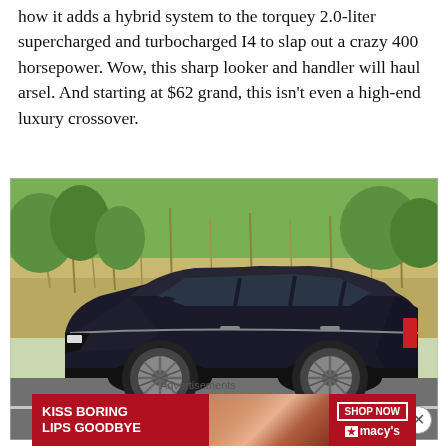how it adds a hybrid system to the torquey 2.0-liter supercharged and turbocharged I4 to slap out a crazy 400 horsepower. Wow, this sharp looker and handler will haul arsel. And starting at $62 grand, this isn't even a high-end luxury crossover.
[Figure (photo): Side profile of a black luxury crossover SUV (appears to be an Acura) parked on a road with green trees and tall grass/reeds in the background. The vehicle is dark/black with silver multi-spoke wheels.]
Advertisements
[Figure (photo): Macy's advertisement banner with red background. Left side shows text 'KISS BORING LIPS GOODBYE' in white bold text. Center shows a close-up photo of a woman's face/lips. Right side shows 'SHOP NOW' button and Macy's star logo.]